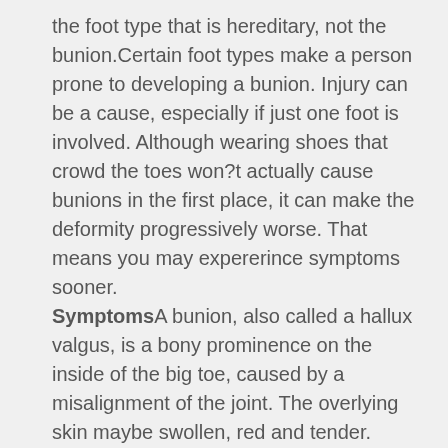the foot type that is hereditary, not the bunion.Certain foot types make a person prone to developing a bunion. Injury can be a cause, especially if just one foot is involved. Although wearing shoes that crowd the toes won?t actually cause bunions in the first place, it can make the deformity progressively worse. That means you may expererince symptoms sooner. SymptomsA bunion, also called a hallux valgus, is a bony prominence on the inside of the big toe, caused by a misalignment of the joint. The overlying skin maybe swollen, red and tender. Bunions are often painful and can limit what shoes you can wear.
Diagnosis